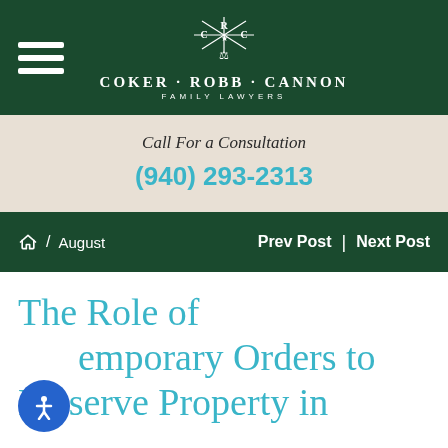[Figure (logo): Coker Robb Cannon Family Lawyers logo with R, C, C monogram and Texas star, scales of justice]
Call For a Consultation
(940) 293-2313
Home / August   Prev Post | Next Post
The Role of Temporary Orders to Preserve Property in